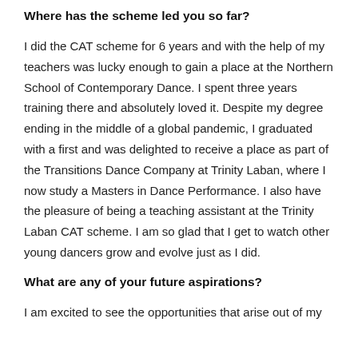Where has the scheme led you so far?
I did the CAT scheme for 6 years and with the help of my teachers was lucky enough to gain a place at the Northern School of Contemporary Dance. I spent three years training there and absolutely loved it. Despite my degree ending in the middle of a global pandemic, I graduated with a first and was delighted to receive a place as part of the Transitions Dance Company at Trinity Laban, where I now study a Masters in Dance Performance. I also have the pleasure of being a teaching assistant at the Trinity Laban CAT scheme. I am so glad that I get to watch other young dancers grow and evolve just as I did.
What are any of your future aspirations?
I am excited to see the opportunities that arise out of my